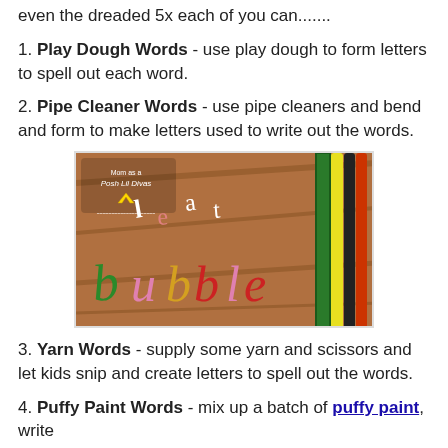even the dreaded 5x each of you can.......
1. Play Dough Words - use play dough to form letters to spell out each word.
2. Pipe Cleaner Words - use pipe cleaners and bend and form to make letters used to write out the words.
[Figure (photo): Photo showing the word 'bubble' spelled out using colorful pipe cleaners on a wooden surface. Includes a watermark reading 'Mom as a Posh Lil Divas' with a crown icon.]
3. Yarn Words - supply some yarn and scissors and let kids snip and create letters to spell out the words.
4. Puffy Paint Words - mix up a batch of puffy paint, write